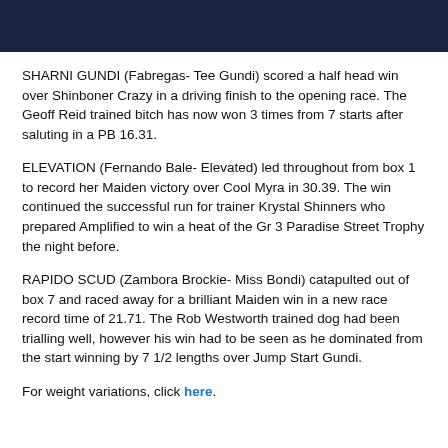[Figure (photo): Dark navy/black banner image at the top of the page]
SHARNI GUNDI (Fabregas- Tee Gundi) scored a half head win over Shinboner Crazy in a driving finish to the opening race. The Geoff Reid trained bitch has now won 3 times from 7 starts after saluting in a PB 16.31.
ELEVATION (Fernando Bale- Elevated) led throughout from box 1 to record her Maiden victory over Cool Myra in 30.39. The win continued the successful run for trainer Krystal Shinners who prepared Amplified to win a heat of the Gr 3 Paradise Street Trophy the night before.
RAPIDO SCUD (Zambora Brockie- Miss Bondi) catapulted out of box 7 and raced away for a brilliant Maiden win in a new race record time of 21.71. The Rob Westworth trained dog had been trialling well, however his win had to be seen as he dominated from the start winning by 7 1/2 lengths over Jump Start Gundi.
For weight variations, click here.